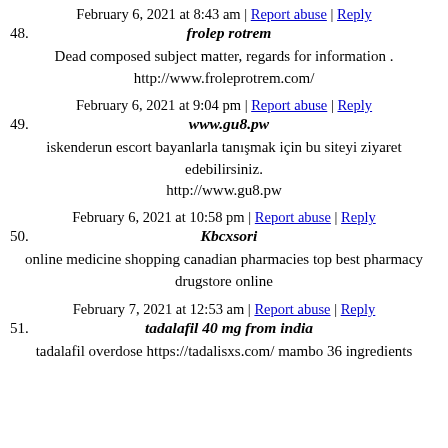48. frolep rotrem — February 6, 2021 at 8:43 am | Report abuse | Reply
Dead composed subject matter, regards for information .
http://www.froleprotrem.com/
49. www.gu8.pw — February 6, 2021 at 9:04 pm | Report abuse | Reply
iskenderun escort bayanlarla tanışmak için bu siteyi ziyaret edebilirsiniz.
http://www.gu8.pw
50. Kbcxsori — February 6, 2021 at 10:58 pm | Report abuse | Reply
online medicine shopping canadian pharmacies top best pharmacy drugstore online
51. tadalafil 40 mg from india — February 7, 2021 at 12:53 am | Report abuse | Reply
tadalafil overdose https://tadalisxs.com/ mambo 36 ingredients